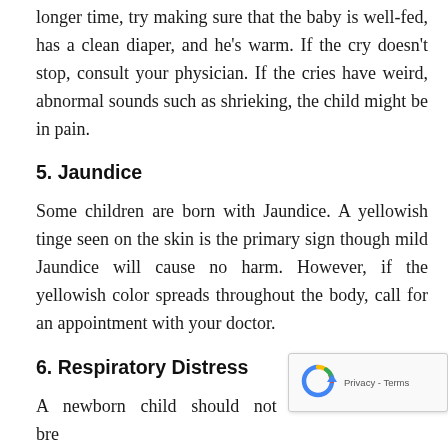longer time, try making sure that the baby is well-fed, has a clean diaper, and he's warm. If the cry doesn't stop, consult your physician. If the cries have weird, abnormal sounds such as shrieking, the child might be in pain.
5. Jaundice
Some children are born with Jaundice. A yellowish tinge seen on the skin is the primary sign though mild Jaundice will cause no harm. However, if the yellowish color spreads throughout the body, call for an appointment with your doctor.
6. Respiratory Distress
A newborn child should not exceed 60 times breathes within a minute. For fast breathing, the child is likely to be suffering from sepsis, Pneumonia, or metabolic